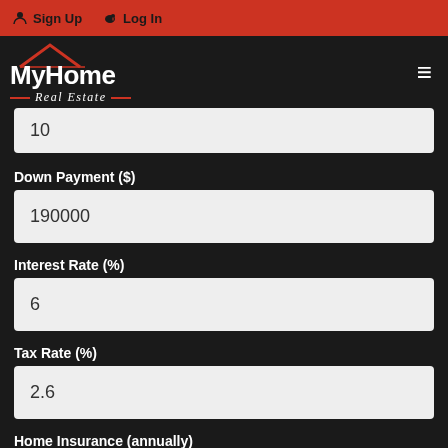Sign Up   Log In
[Figure (logo): MyHome Real Estate logo with red house roof icon, white bold text 'MyHome' and italic 'Real Estate' with red dashes]
10
Down Payment ($)
190000
Interest Rate (%)
6
Tax Rate (%)
2.6
Home Insurance (annually)